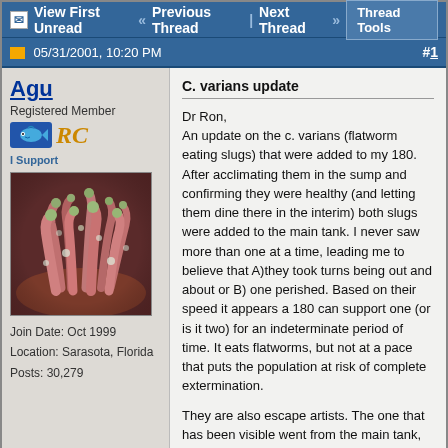View First Unread  « Previous Thread | Next Thread »  Thread Tools
05/31/2001, 10:20 PM  #1
Agu
Registered Member
Join Date: Oct 1999
Location: Sarasota, Florida
Posts: 30,279
[Figure (photo): Close-up photo of coral anemone with pink/red tentacles and small round polyps under water]
C. varians update
Dr Ron,
An update on the c. varians (flatworm eating slugs) that were added to my 180. After acclimating them in the sump and confirming they were healthy (and letting them dine there in the interim) both slugs were added to the main tank. I never saw more than one at a time, leading me to believe that A)they took turns being out and about or B) one perished. Based on their speed it appears a 180 can support one (or is it two) for an indeterminate period of time. It eats flatworms, but not at a pace that puts the population at risk of complete extermination.

They are also escape artists. The one that has been visible went from the main tank, through the overflow, through the 3/16" holes in